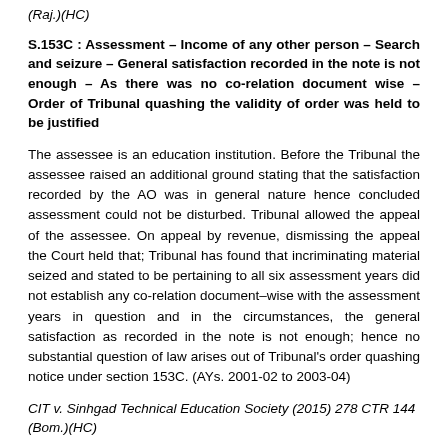(Raj.)(HC)
S.153C : Assessment – Income of any other person – Search and seizure – General satisfaction recorded in the note is not enough – As there was no co-relation document wise – Order of Tribunal quashing the validity of order was held to be justified
The assessee is an education institution. Before the Tribunal the assessee raised an additional ground stating that the satisfaction recorded by the AO was in general nature hence concluded assessment could not be disturbed. Tribunal allowed the appeal of the assessee. On appeal by revenue, dismissing the appeal the Court held that; Tribunal has found that incriminating material seized and stated to be pertaining to all six assessment years did not establish any co-relation document–wise with the assessment years in question and in the circumstances, the general satisfaction as recorded in the note is not enough; hence no substantial question of law arises out of Tribunal's order quashing notice under section 153C. (AYs. 2001-02 to 2003-04)
CIT v. Sinhgad Technical Education Society (2015) 278 CTR 144 (Bom.)(HC)